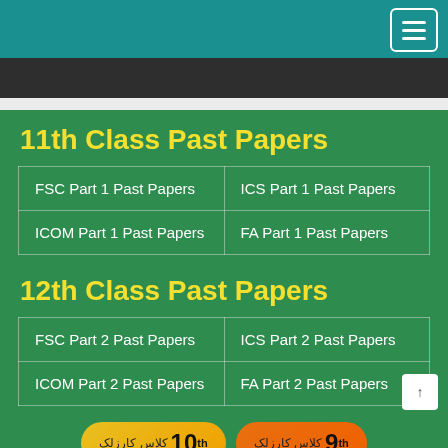Navigation header with teal background and menu button
11th Class Past Papers
| FSC Part 1 Past Papers | ICS Part 1 Past Papers |
| ICOM Part 1 Past Papers | FA Part 1 Past Papers |
12th Class Past Papers
| FSC Part 2 Past Papers | ICS Part 2 Past Papers |
| ICOM Part 2 Past Papers | FA Part 2 Past Papers |
10th class results badge and 9th class results badge in Urdu